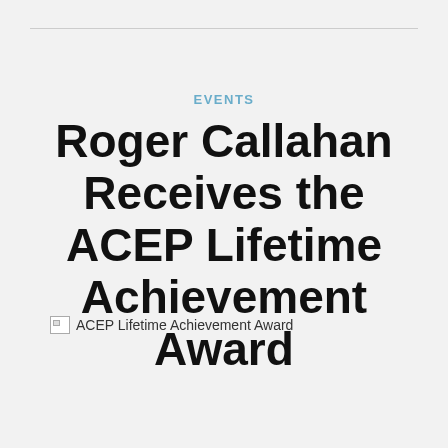EVENTS
Roger Callahan Receives the ACEP Lifetime Achievement Award
[Figure (photo): Broken image placeholder with alt text: ACEP Lifetime Achievement Award]